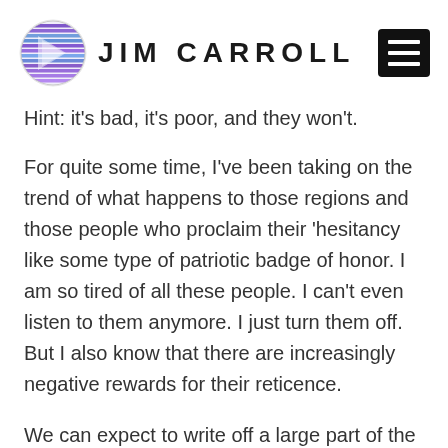JIM CARROLL
Hint: it’s bad, it’s poor, and they won’t.
For quite some time, I’ve been taking on the trend of what happens to those regions and those people who proclaim their ‘hesitancy like some type of patriotic badge of honor. I am so tired of all these people. I can’t even listen to them anymore. I just turn them off. But I also know that there are increasingly negative rewards for their reticence.
We can expect to write off a large part of the Southern US as the…